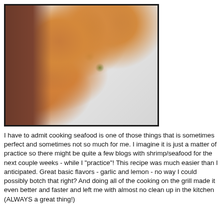[Figure (photo): Close-up photo of cooked shrimp garnished with fresh green herbs on a white plate, with a piece of dark grilled meat (steak) visible on the left side.]
I have to admit cooking seafood is one of those things that is sometimes perfect and sometimes not so much for me. I imagine it is just a matter of practice so there might be quite a few blogs with shrimp/seafood for the next couple weeks - while I "practice"! This recipe was much easier than I anticipated. Great basic flavors - garlic and lemon - no way I could possibly botch that right? And doing all of the cooking on the grill made it even better and faster and left me with almost no clean up in the kitchen (ALWAYS a great thing!)